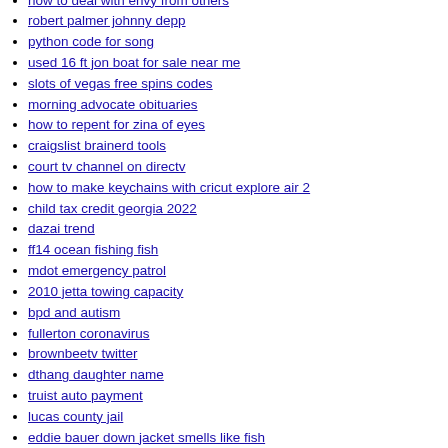how to deal with envy from others
robert palmer johnny depp
python code for song
used 16 ft jon boat for sale near me
slots of vegas free spins codes
morning advocate obituaries
how to repent for zina of eyes
craigslist brainerd tools
court tv channel on directv
how to make keychains with cricut explore air 2
child tax credit georgia 2022
dazai trend
ff14 ocean fishing fish
mdot emergency patrol
2010 jetta towing capacity
bpd and autism
fullerton coronavirus
brownbeetv twitter
dthang daughter name
truist auto payment
lucas county jail
eddie bauer down jacket smells like fish
odds of winning florida fantasy 5
how to make pearl wedding jewelry
academic problems research
how to avoid linkedin notifications